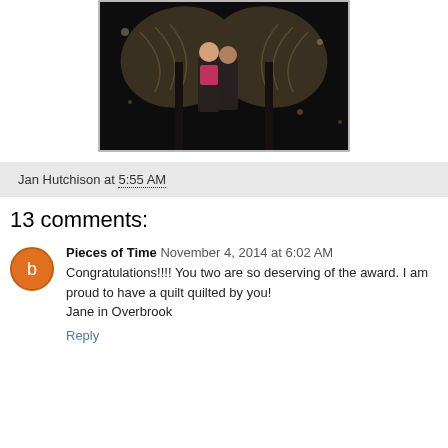[Figure (photo): Two women standing in front of a large angel wings sculpture at night, with bokeh lights in background]
Jan Hutchison at 5:55 AM
13 comments:
Pieces of Time  November 4, 2014 at 6:02 AM
Congratulations!!!! You two are so deserving of the award. I am proud to have a quilt quilted by you!
Jane in Overbrook
Reply